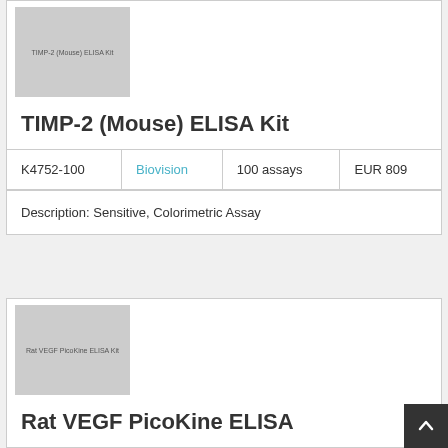[Figure (photo): Product image placeholder for TIMP-2 (Mouse) ELISA Kit with gray background and label text]
TIMP-2 (Mouse) ELISA Kit
| K4752-100 | Biovision | 100 assays | EUR 809 |
| --- | --- | --- | --- |
Description: Sensitive, Colorimetric Assay
[Figure (photo): Product image placeholder for Rat VEGF PicoKine ELISA Kit with gray background and label text]
Rat VEGF PicoKine ELISA